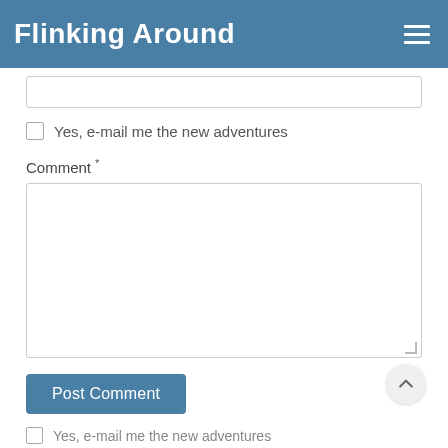Flinking Around
Yes, e-mail me the new adventures
Comment *
Post Comment
Yes, e-mail me the new adventures